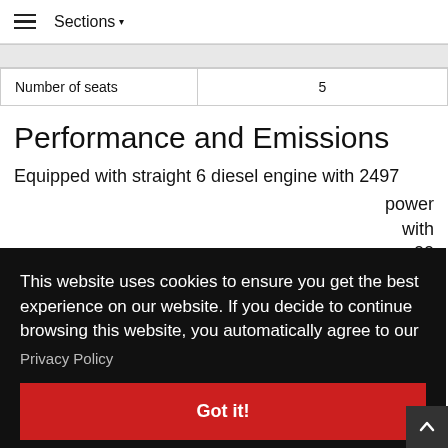Sections
|  |  |
| --- | --- |
| Number of seats | 5 |
Performance and Emissions
Equipped with straight 6 diesel engine with 2497 ... power ... with ... 00
This website uses cookies to ensure you get the best experience on our website. If you decide to continue browsing this website, you automatically agree to our Privacy Policy Got it!
|  |  |
| --- | --- |
| Acceleration | 6,9 S |